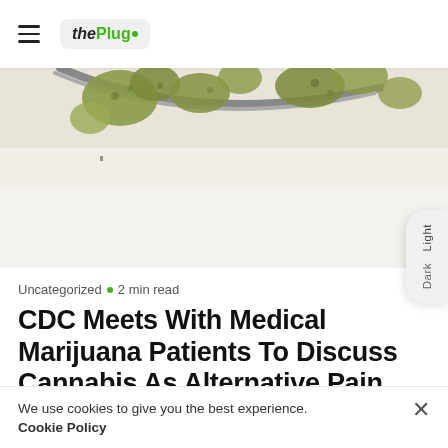thePlug
[Figure (photo): Close-up photo of cannabis plant material (marijuana buds) on a white surface with a metal utensil/spoon]
Uncategorized • 2 min read
CDC Meets With Medical Marijuana Patients To Discuss Cannabis As Alternative Pain Therapy
We use cookies to give you the best experience. Cookie Policy
medical marijuana patients as part of a broader